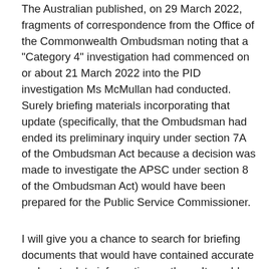The Australian published, on 29 March 2022, fragments of correspondence from the Office of the Commonwealth Ombudsman noting that a "Category 4" investigation had commenced on or about 21 March 2022 into the PID investigation Ms McMullan had conducted. Surely briefing materials incorporating that update (specifically, that the Ombudsman had ended its preliminary inquiry under section 7A of the Ombudsman Act because a decision was made to investigate the APSC under section 8 of the Ombudsman Act) would have been prepared for the Public Service Commissioner.
I will give you a chance to search for briefing documents that would have contained accurate and up-to-date information on them. It would have been negligent for the Public Service Commissioner to advise Senators that a preliminary inquiry was underway when, in reality, the preliminary inquiry had ended and an investigation under section 8 of the